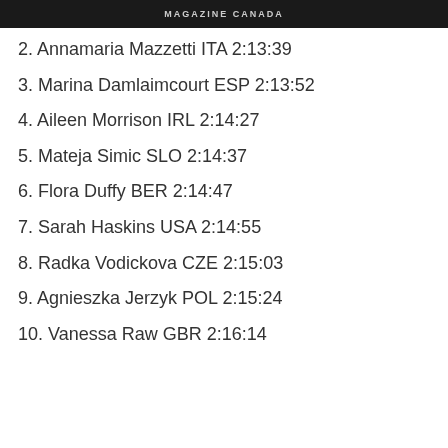MAGAZINE CANADA
2. Annamaria Mazzetti ITA 2:13:39
3. Marina Damlaimcourt ESP 2:13:52
4. Aileen Morrison IRL 2:14:27
5. Mateja Simic SLO 2:14:37
6. Flora Duffy BER 2:14:47
7. Sarah Haskins USA 2:14:55
8. Radka Vodickova CZE 2:15:03
9. Agnieszka Jerzyk POL 2:15:24
10. Vanessa Raw GBR 2:16:14